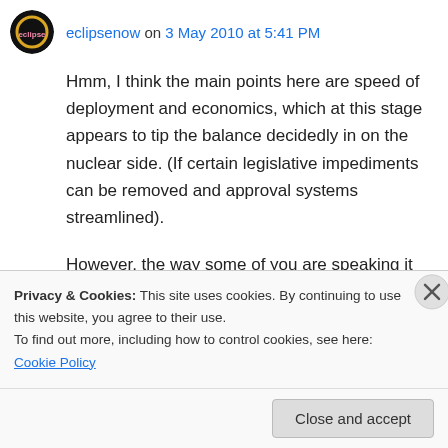eclipsenow on 3 May 2010 at 5:41 PM
Hmm, I think the main points here are speed of deployment and economics, which at this stage appears to tip the balance decidedly in on the nuclear side. (If certain legislative impediments can be removed and approval systems streamlined).
However, the way some of you are speaking it sounds like you believe Industrial civilisation could never have arrived without fossil fuels or
Privacy & Cookies: This site uses cookies. By continuing to use this website, you agree to their use.
To find out more, including how to control cookies, see here: Cookie Policy
Close and accept